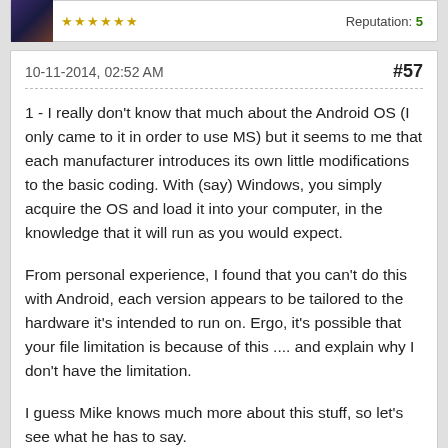Reputation: 5
10-11-2014, 02:52 AM   #57
1 - I really don't know that much about the Android OS (I only came to it in order to use MS) but it seems to me that each manufacturer introduces its own little modifications to the basic coding. With (say) Windows, you simply acquire the OS and load it into your computer, in the knowledge that it will run as you would expect.
From personal experience, I found that you can't do this with Android, each version appears to be tailored to the hardware it's intended to run on. Ergo, it's possible that your file limitation is because of this .... and explain why I don't have the limitation.
I guess Mike knows much more about this stuff, so let's see what he has to say.
2 - 'Songs' was my first thought, but then I asked myself, why?